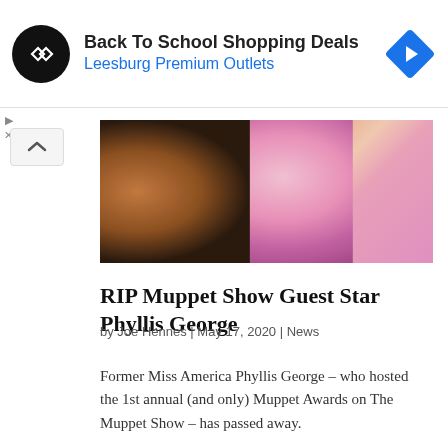[Figure (other): Advertisement banner: Back To School Shopping Deals at Leesburg Premium Outlets with circular logo and blue diamond icon]
[Figure (photo): Photo of a woman in a pink satin outfit with an orange Muppet character partially visible]
RIP Muppet Show Guest Star Phyllis George
by Joe Hennes | May 17, 2020 | News
Former Miss America Phyllis George – who hosted the 1st annual (and only) Muppet Awards on The Muppet Show – has passed away.